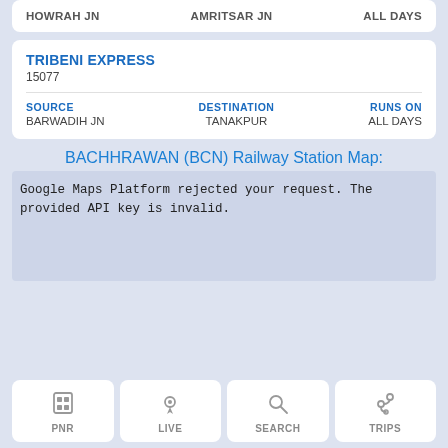| SOURCE | DESTINATION | RUNS ON |
| --- | --- | --- |
| HOWRAH JN | AMRITSAR JN | ALL DAYS |
TRIBENI EXPRESS
15077
| SOURCE | DESTINATION | RUNS ON |
| --- | --- | --- |
| BARWADIH JN | TANAKPUR | ALL DAYS |
BACHHRAWAN (BCN) Railway Station Map:
Google Maps Platform rejected your request. The provided API key is invalid.
PNR | LIVE | SEARCH | TRIPS